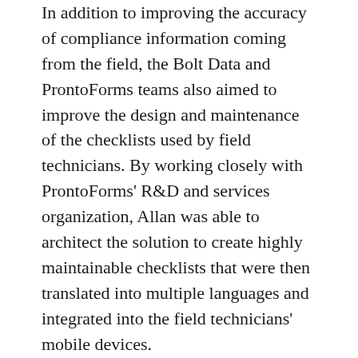In addition to improving the accuracy of compliance information coming from the field, the Bolt Data and ProntoForms teams also aimed to improve the design and maintenance of the checklists used by field technicians. By working closely with ProntoForms' R&D and services organization, Allan was able to architect the solution to create highly maintainable checklists that were then translated into multiple languages and integrated into the field technicians' mobile devices.
As a highly knowledgeable implementation partner, Allan and the team at Bolt Data knew how to best solution to meet the organization's needs. One of the most